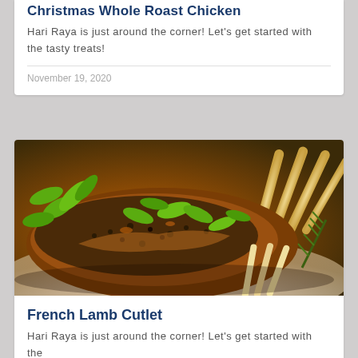Christmas Whole Roast Chicken
Hari Raya is just around the corner! Let's get started with the tasty treats!
November 19, 2020
[Figure (photo): Grilled French lamb cutlets with herbs, spices and rosemary on a white plate]
French Lamb Cutlet
Hari Raya is just around the corner! Let's get started with the